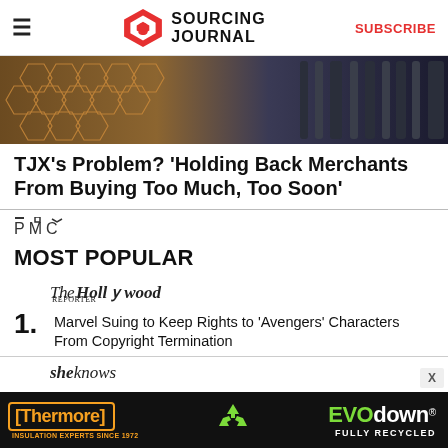SOURCING JOURNAL | SUBSCRIBE
[Figure (photo): Close-up of honeycomb/hexagonal mesh material next to dark plastic or metal structural components]
TJX’s Problem? ‘Holding Back Merchants From Buying Too Much, Too Soon’
[Figure (logo): PMC logo]
MOST POPULAR
[Figure (logo): The Hollywood Reporter logo (italic script)]
1. Marvel Suing to Keep Rights to 'Avengers' Characters From Copyright Termination
[Figure (logo): sheknows logo]
2. This Description of Ivanka Trump's Face After
[Figure (other): Thermore EVO down FULLY RECYCLED advertisement banner at bottom of page]